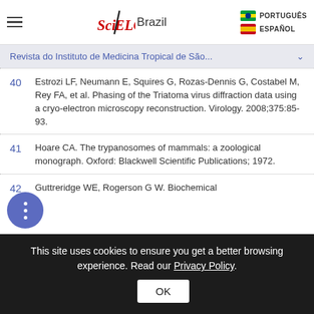SciELO Brazil — PORTUGUÊS / ESPAÑOL navigation header
Revista do Instituto de Medicina Tropical de São...
40 Estrozi LF, Neumann E, Squires G, Rozas-Dennis G, Costabel M, Rey FA, et al. Phasing of the Triatoma virus diffraction data using a cryo-electron microscopy reconstruction. Virology. 2008;375:85-93.
41 Hoare CA. The trypanosomes of mammals: a zoological monograph. Oxford: Blackwell Scientific Publications; 1972.
42 Guttreridge WE, Rogerson G W. Biochemical
This site uses cookies to ensure you get a better browsing experience. Read our Privacy Policy.